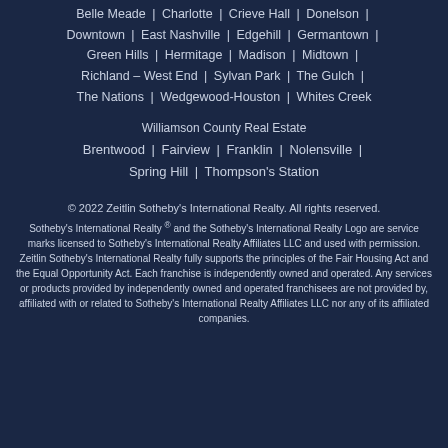Belle Meade | Charlotte | Crieve Hall | Donelson | Downtown | East Nashville | Edgehill | Germantown | Green Hills | Hermitage | Madison | Midtown | Richland – West End | Sylvan Park | The Gulch | The Nations | Wedgewood-Houston | Whites Creek
Williamson County Real Estate
Brentwood | Fairview | Franklin | Nolensville | Spring Hill | Thompson's Station
© 2022 Zeitlin Sotheby's International Realty. All rights reserved.
Sotheby's International Realty ® and the Sotheby's International Realty Logo are service marks licensed to Sotheby's International Realty Affiliates LLC and used with permission. Zeitlin Sotheby's International Realty fully supports the principles of the Fair Housing Act and the Equal Opportunity Act. Each franchise is independently owned and operated. Any services or products provided by independently owned and operated franchisees are not provided by, affiliated with or related to Sotheby's International Realty Affiliates LLC nor any of its affiliated companies.